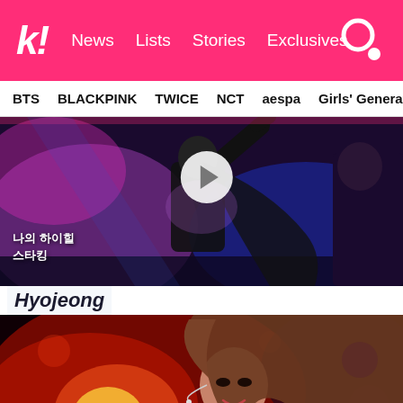k! News Lists Stories Exclusives
BTS  BLACKPINK  TWICE  NCT  aespa  Girls' Generation
[Figure (screenshot): K-pop performer on stage under purple and blue stage lights, raising arm. Korean text overlay reads: 나의 하이힐 스타킹. Video play button visible in center top.]
Hyojeong
[Figure (screenshot): K-pop female performer on stage with red stage lighting, smiling, wearing black outfit with microphone headset. Blurred bokeh background.]